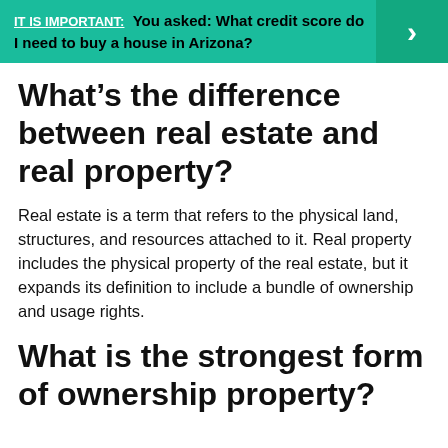[Figure (infographic): Teal banner with 'IT IS IMPORTANT:' underlined in white bold text, followed by bold black text 'You asked: What credit score do I need to buy a house in Arizona?' and a right arrow chevron on a darker teal background on the right side.]
What’s the difference between real estate and real property?
Real estate is a term that refers to the physical land, structures, and resources attached to it. Real property includes the physical property of the real estate, but it expands its definition to include a bundle of ownership and usage rights.
What is the strongest form of ownership property?